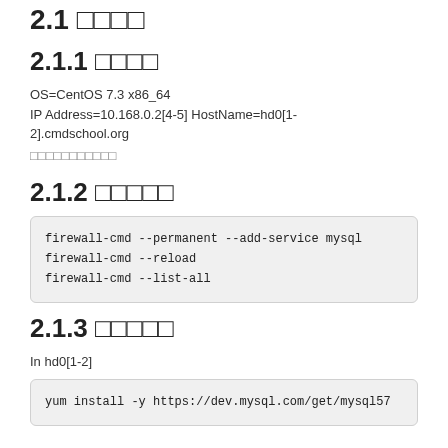2.1 □□□□
2.1.1 □□□□
OS=CentOS 7.3 x86_64
IP Address=10.168.0.2[4-5] HostName=hd0[1-2].cmdschool.org
□□□□□□□□□□□
2.1.2 □□□□□
firewall-cmd --permanent --add-service mysql
firewall-cmd --reload
firewall-cmd --list-all
2.1.3 □□□□□
In hd0[1-2]
yum install -y https://dev.mysql.com/get/mysql57